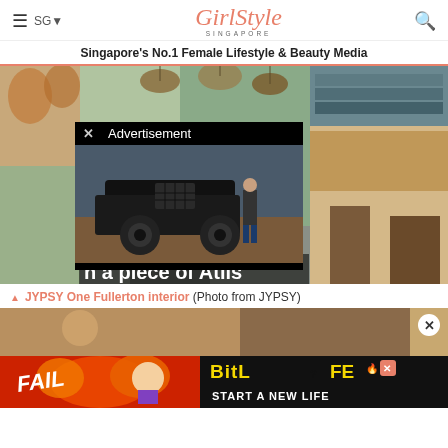≡ SG▾  GirlStyle SINGAPORE  🔍
Singapore's No.1 Female Lifestyle & Beauty Media
[Figure (photo): Interior of JYPSY One Fullerton restaurant with wicker pendant lights and bar shelving, with an advertisement overlay showing a black truck and text 'Advertisement' with a close X button, and partial text 'n a piece of Atlis']
▲ JYPSY One Fullerton interior (Photo from JYPSY)
[Figure (photo): Bottom portion of a food/restaurant photo partially visible, with a close X button overlay]
[Figure (screenshot): BitLife advertisement banner with 'FAIL' text, cartoon character, fire graphic, and 'START A NEW LIFE' text on dark background]